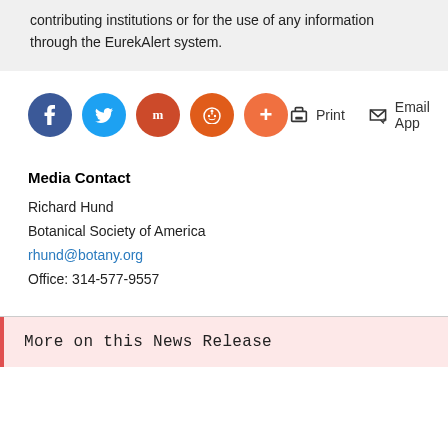contributing institutions or for the use of any information through the EurekAlert system.
[Figure (infographic): Social sharing buttons: Facebook (dark blue), Twitter (light blue), Mastodon (dark orange), Reddit (orange), Plus (light orange). Print and Email App action buttons on the right.]
Media Contact
Richard Hund
Botanical Society of America
rhund@botany.org
Office: 314-577-9557
More on this News Release